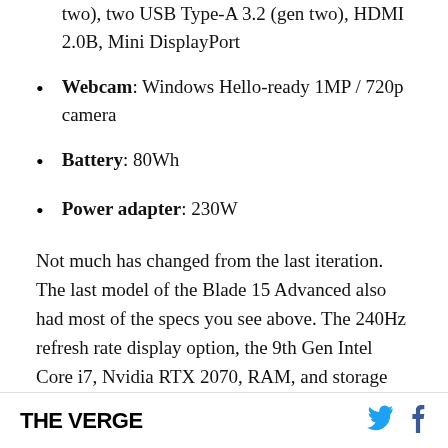two), two USB Type-A 3.2 (gen two), HDMI 2.0B, Mini DisplayPort
Webcam: Windows Hello-ready 1MP / 720p camera
Battery: 80Wh
Power adapter: 230W
Not much has changed from the last iteration. The last model of the Blade 15 Advanced also had most of the specs you see above. The 240Hz refresh rate display option, the 9th Gen Intel Core i7, Nvidia RTX 2070, RAM, and storage count are all nothing new, aside from the fact that they now come
THE VERGE